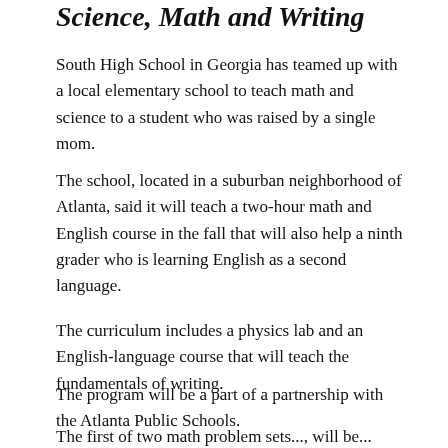Science, Math and Writing
South High School in Georgia has teamed up with a local elementary school to teach math and science to a student who was raised by a single mom.
The school, located in a suburban neighborhood of Atlanta, said it will teach a two-hour math and English course in the fall that will also help a ninth grader who is learning English as a second language.
The curriculum includes a physics lab and an English-language course that will teach the fundamentals of writing.
The program will be a part of a partnership with the Atlanta Public Schools.
The first of two math problem sets. ..., will be...